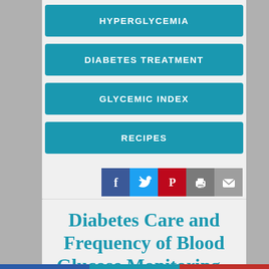HYPERGLYCEMIA
DIABETES TREATMENT
GLYCEMIC INDEX
RECIPES
[Figure (infographic): Social share icons: Facebook (blue), Twitter (light blue), Pinterest (red), Print (gray), Email (gray)]
Diabetes Care and Frequency of Blood Glucose Monitoring - How Often Do You Check?